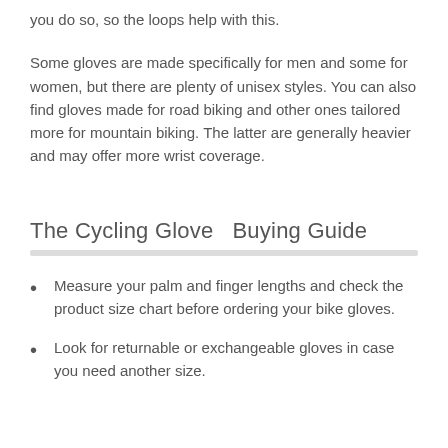you do so, so the loops help with this.
Some gloves are made specifically for men and some for women, but there are plenty of unisex styles. You can also find gloves made for road biking and other ones tailored more for mountain biking. The latter are generally heavier and may offer more wrist coverage.
The Cycling Glove   Buying Guide
Measure your palm and finger lengths and check the product size chart before ordering your bike gloves.
Look for returnable or exchangeable gloves in case you need another size.